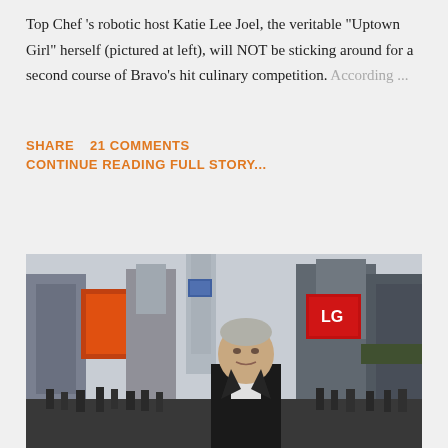Top Chef 's robotic host Katie Lee Joel, the veritable "Uptown Girl" herself (pictured at left), will NOT be sticking around for a second course of Bravo's hit culinary competition. According ...
SHARE   21 COMMENTS
CONTINUE READING FULL STORY...
[Figure (photo): A man in a suit standing in Times Square, New York City, with city buildings, bright billboards including an LG sign, and crowds of people in the background.]